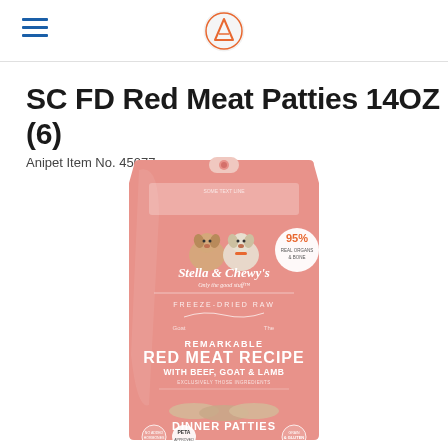Anipet logo and navigation header
SC FD Red Meat Patties 14OZ (6)
Anipet Item No. 45077
[Figure (photo): Stella & Chewy's Remarkable Red Meat Recipe with Beef, Goat & Lamb Freeze-Dried Raw Dinner Patties 14oz bag, pink packaging with dog illustrations]